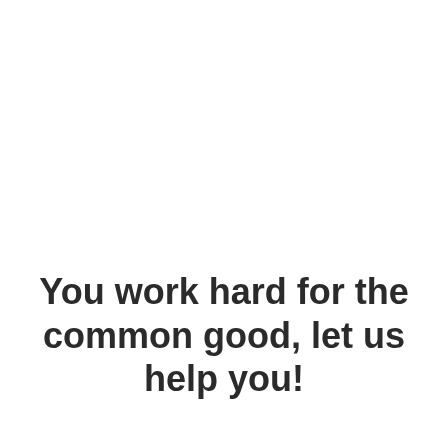You work hard for the common good, let us help you!